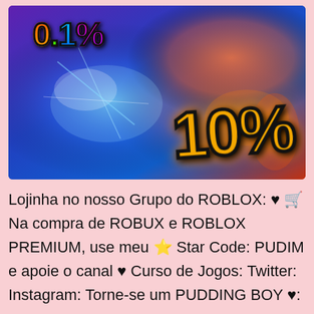[Figure (illustration): A colorful Roblox game promotional banner featuring a bald anime-style character on the right with fire effects, blue energy effects on the left, '0.1%' in rainbow-colored bold text at top-left, and '10%' in large orange bold text at bottom-right.]
Lojinha no nosso Grupo do ROBLOX: ♥ 🛒 Na compra de ROBUX e ROBLOX PREMIUM, use meu ⭐ Star Code: PUDIM e apoie o canal ♥ Curso de Jogos: Twitter: Instagram: Torne-se um PUDDING BOY ♥: